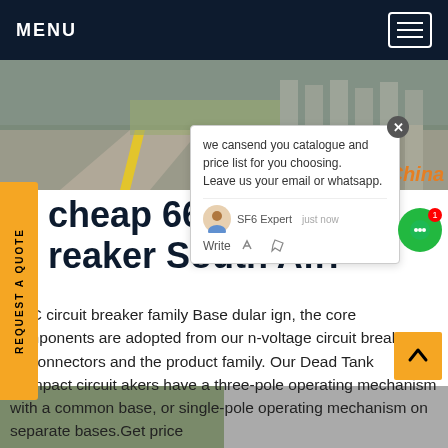MENU
[Figure (photo): Outdoor electrical substation area with concrete structures and yellow line on ground]
cheap 66kv circuit breaker South Africa
DTC circuit breaker family Base dular ign, the core components are adopted from our n-voltage circuit breakers, disconnectors and the product family. Our Dead Tank Compact circuit akers have a three-pole operating mechanism with a common base, or single-pole operating mechanism on separate bases.Get price
[Figure (screenshot): Chat popup with message: we cansend you catalogue and price list for you choosing. Leave us your email or whatsapp.]
[Figure (photo): Bottom strip showing partial product images]